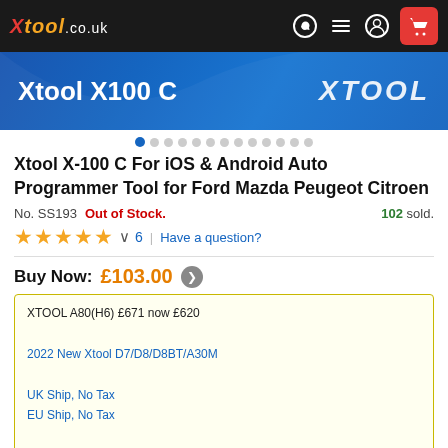xtool.co.uk
[Figure (screenshot): Product banner image for Xtool X100 C with blue gradient background showing 'Xtool X100 C' and 'XTOOL' logo]
Xtool X-100 C For iOS & Android Auto Programmer Tool for Ford Mazda Peugeot Citroen
No. SS193   Out of Stock.   102 sold.
★★★★★ ∨  6  |  Have a question?
Buy Now: £103.00
XTOOL A80(H6) £671 now £620

2022 New Xtool D7/D8/D8BT/A30M

UK Ship, No Tax
EU Ship, No Tax

whatsapp: +86 18223445829
Weight:   0.4KG     ( 0.88LB )